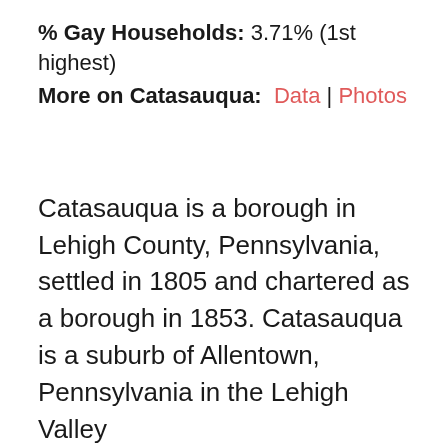% Gay Households: 3.71% (1st highest)
More on Catasauqua: Data | Photos
Catasauqua is a borough in Lehigh County, Pennsylvania, settled in 1805 and chartered as a borough in 1853. Catasauqua is a suburb of Allentown, Pennsylvania in the Lehigh Valley